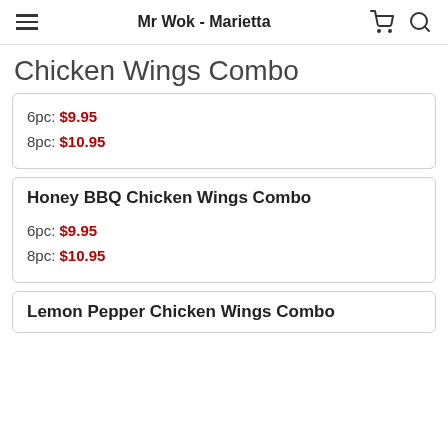Mr Wok - Marietta
Chicken Wings Combo
6pc: $9.95
8pc: $10.95
Honey BBQ Chicken Wings Combo
6pc: $9.95
8pc: $10.95
Lemon Pepper Chicken Wings Combo